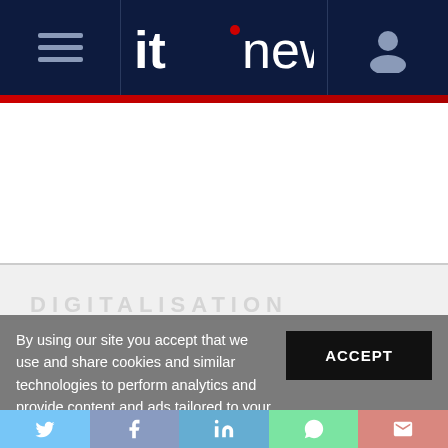itnews
By using our site you accept that we use and share cookies and similar technologies to perform analytics and provide content and ads tailored to your interests. By continuing to use our site, you consent to this. Please see our Cookie Policy for more information.